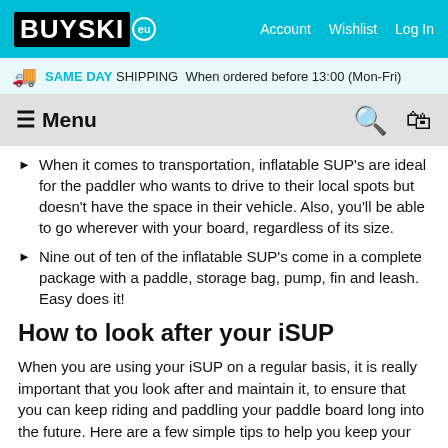BUYSKI EU  Account  Wishlist  Log In
SAME DAY SHIPPING When ordered before 13:00 (Mon-Fri)
≡ Menu
When it comes to transportation, inflatable SUP's are ideal for the paddler who wants to drive to their local spots but doesn't have the space in their vehicle. Also, you'll be able to go wherever with your board, regardless of its size.
Nine out of ten of the inflatable SUP's come in a complete package with a paddle, storage bag, pump, fin and leash. Easy does it!
How to look after your iSUP
When you are using your iSUP on a regular basis, it is really important that you look after and maintain it, to ensure that you can keep riding and paddling your paddle board long into the future. Here are a few simple tips to help you keep your paddle board floating!